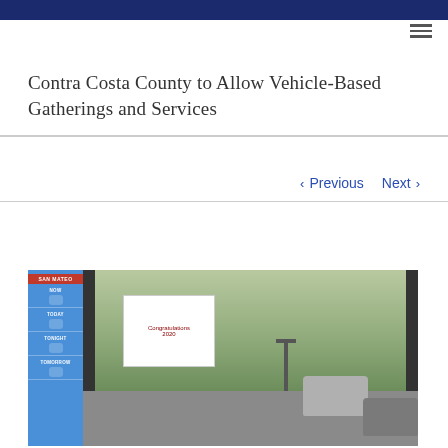Contra Costa County to Allow Vehicle-Based Gatherings and Services
< Previous   Next >
[Figure (photo): News broadcast screenshot showing cars lined up at a gate with a graduation banner reading 'Congratulations 2020', with mountains in the background. Left side shows a weather forecast panel with labels: SAN MATEO, NOW, TODAY, TONIGHT, TOMORROW.]